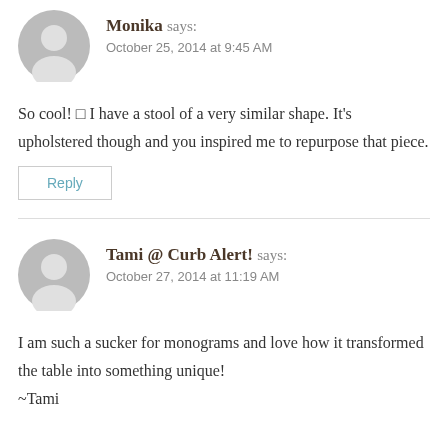Monika says: October 25, 2014 at 9:45 AM
So cool! 🙂 I have a stool of a very similar shape. It's upholstered though and you inspired me to repurpose that piece.
Reply
Tami @ Curb Alert! says: October 27, 2014 at 11:19 AM
I am such a sucker for monograms and love how it transformed the table into something unique! ~Tami